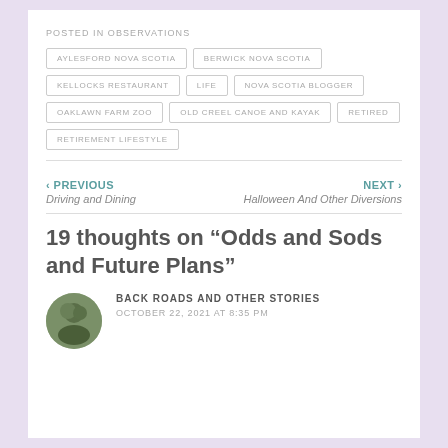POSTED IN OBSERVATIONS
AYLESFORD NOVA SCOTIA
BERWICK NOVA SCOTIA
KELLOCKS RESTAURANT
LIFE
NOVA SCOTIA BLOGGER
OAKLAWN FARM ZOO
OLD CREEL CANOE AND KAYAK
RETIRED
RETIREMENT LIFESTYLE
‹ PREVIOUS
Driving and Dining
NEXT ›
Halloween And Other Diversions
19 thoughts on “Odds and Sods and Future Plans”
BACK ROADS AND OTHER STORIES
OCTOBER 22, 2021 AT 8:35 PM